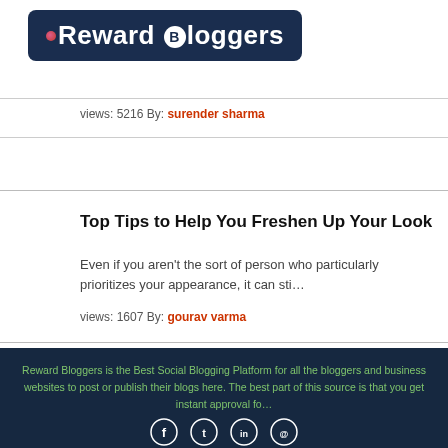[Figure (logo): Reward Bloggers logo with dark navy background and stylized text]
views: 5216 By: surender sharma
Top Tips to Help You Freshen Up Your Look
Even if you aren't the sort of person who particularly prioritizes your appearance, it can sti...
views: 1607 By: gourav varma
Reward Bloggers is the Best Social Blogging Platform for all the bloggers and business websites to post or publish their blogs here. The best part of this source is that you get instant approval fo...